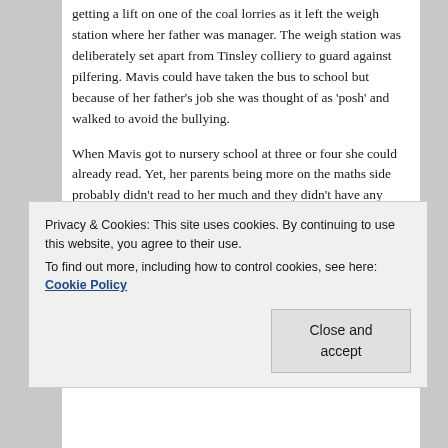getting a lift on one of the coal lorries as it left the weigh station where her father was manager. The weigh station was deliberately set apart from Tinsley colliery to guard against pilfering. Mavis could have taken the bus to school but because of her father's job she was thought of as 'posh' and walked to avoid the bullying.
When Mavis got to nursery school at three or four she could already read. Yet, her parents being more on the maths side probably didn't read to her much and they didn't have any books in the house.
Well, they had three: the Bible; a book called Vigil which I thought was Virgil till I thought he couldn't have been that bad and it was about to slide into the category of Pseuds...
Privacy & Cookies: This site uses cookies. By continuing to use this website, you agree to their use.
To find out more, including how to control cookies, see here: Cookie Policy